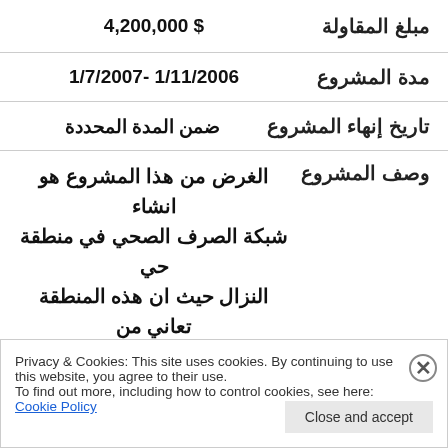| مبلغ المقاولة | 4,200,000 $ |
| --- | --- |
| مدة المشروع | 1/11/2006 - 1/7/2007 |
| --- | --- |
| تاريخ إنهاء المشروع | ضمن المدة المحددة |
| --- | --- |
| وصف المشروع | الغرض من هذا المشروع هو انشاء شبكة الصرف الصحي في منطقة حي النزال حيث ان هذه المنطقة تعاني من تردي الخدمات والعمل يتضمن الحفر |
| --- | --- |
Privacy & Cookies: This site uses cookies. By continuing to use this website, you agree to their use. To find out more, including how to control cookies, see here: Cookie Policy